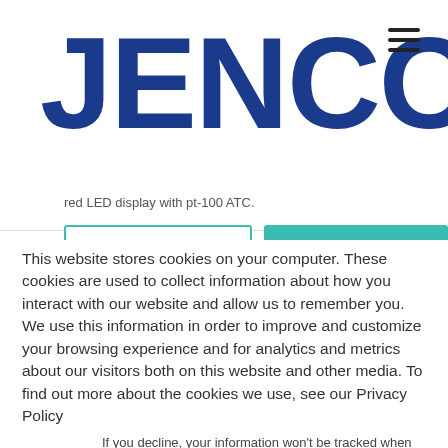[Figure (logo): JENCO company logo in bold dark blue text]
red LED display with pt-100 ATC.
This website stores cookies on your computer. These cookies are used to collect information about how you interact with our website and allow us to remember you. We use this information in order to improve and customize your browsing experience and for analytics and metrics about our visitors both on this website and other media. To find out more about the cookies we use, see our Privacy Policy
If you decline, your information won't be tracked when you visit this website. A single cookie will be used in your browser to remember your preference not to be tracked.